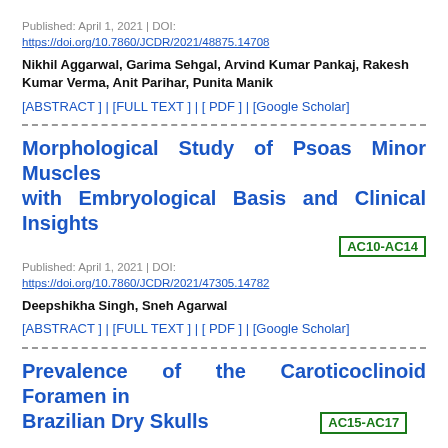Published: April 1, 2021 | DOI:
https://doi.org/10.7860/JCDR/2021/48875.14708
Nikhil Aggarwal, Garima Sehgal, Arvind Kumar Pankaj, Rakesh Kumar Verma, Anit Parihar, Punita Manik
[ABSTRACT ] | [FULL TEXT ] | [ PDF ] | [Google Scholar]
Morphological Study of Psoas Minor Muscles with Embryological Basis and Clinical Insights AC10-AC14
Published: April 1, 2021 | DOI:
https://doi.org/10.7860/JCDR/2021/47305.14782
Deepshikha Singh, Sneh Agarwal
[ABSTRACT ] | [FULL TEXT ] | [ PDF ] | [Google Scholar]
Prevalence of the Caroticoclinoid Foramen in Brazilian Dry Skulls AC15-AC17